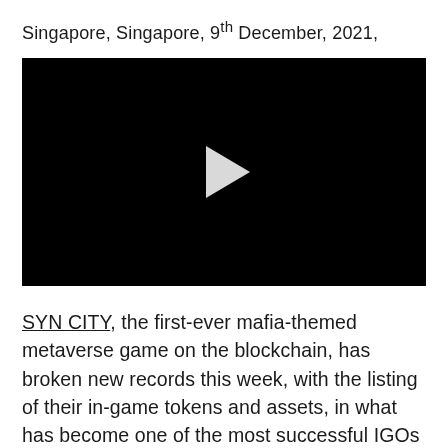Singapore, Singapore, 9th December, 2021,
[Figure (other): Embedded video player with black background and white play button triangle in the center]
SYN CITY, the first-ever mafia-themed metaverse game on the blockchain, has broken new records this week, with the listing of their in-game tokens and assets, in what has become one of the most successful IGOs to date. SYN CITY launched its IGO on the